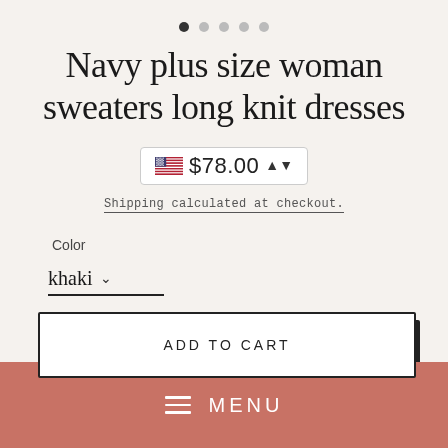[Figure (other): Carousel dot indicators: 5 dots, first dot filled/dark, rest light grey]
Navy plus size woman sweaters long knit dresses
$78.00
Shipping calculated at checkout.
Color
khaki
ADD TO CART
MENU